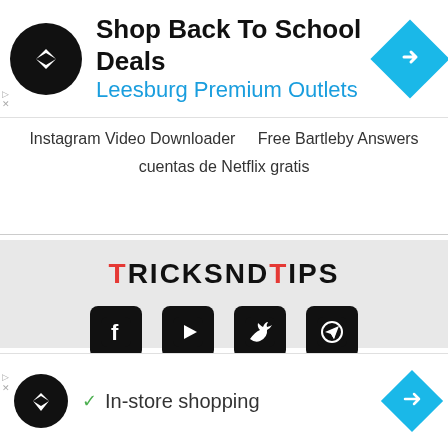[Figure (screenshot): Top advertisement banner: Shop Back To School Deals - Leesburg Premium Outlets with navigation icon]
Instagram Video Downloader   Free Bartleby Answers
cuentas de Netflix gratis
[Figure (logo): TricksndTips logo with red T letters]
[Figure (infographic): Social media icons: Facebook, YouTube, Twitter, Telegram]
Contact us   Dmca   Privacy Policy
Advertise With Us
[Figure (screenshot): Bottom advertisement banner: In-store shopping with navigation icon]